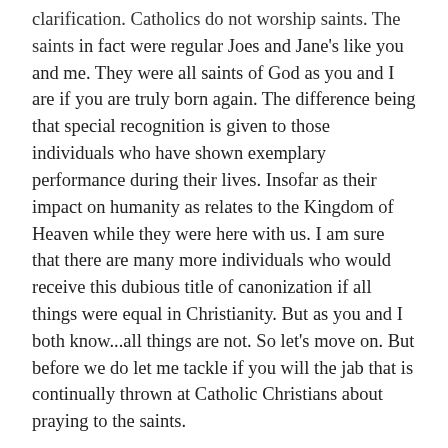clarification. Catholics do not worship saints. The saints in fact were regular Joes and Jane's like you and me. They were all saints of God as you and I are if you are truly born again. The difference being that special recognition is given to those individuals who have shown exemplary performance during their lives. Insofar as their impact on humanity as relates to the Kingdom of Heaven while they were here with us. I am sure that there are many more individuals who would receive this dubious title of canonization if all things were equal in Christianity. But as you and I both know...all things are not. So let's move on. But before we do let me tackle if you will the jab that is continually thrown at Catholic Christians about praying to the saints.
May I pose a question or two for your consideration my esteemed reader? As it pertains to praying to saints for